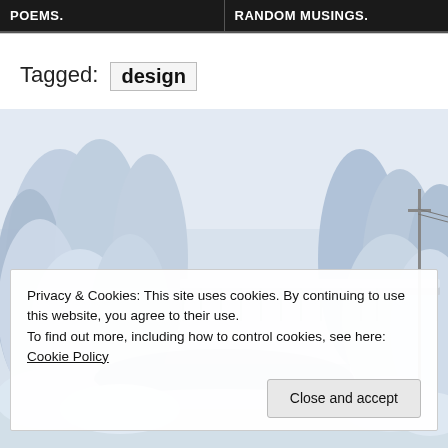POEMS.    RANDOM MUSINGS.
Tagged:  design
[Figure (photo): Winter snow scene with snow-covered trees and a bridge over a frozen river/stream]
Privacy & Cookies: This site uses cookies. By continuing to use this website, you agree to their use.
To find out more, including how to control cookies, see here: Cookie Policy
[Close and accept]